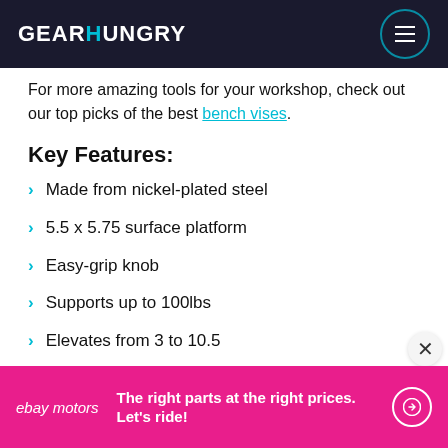GEARHUNGRY
For more amazing tools for your workshop, check out our top picks of the best bench vises.
Key Features:
Made from nickel-plated steel
5.5 x 5.75 surface platform
Easy-grip knob
Supports up to 100lbs
Elevates from 3 to 10.5
[Figure (screenshot): eBay Motors advertisement banner with magenta background. Text reads: 'The right parts at the right prices. Let's ride!' with a circular arrow button.]